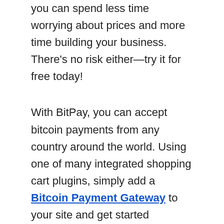you can spend less time worrying about prices and more time building your business. There's no risk either—try it for free today!
With BitPay, you can accept bitcoin payments from any country around the world. Using one of many integrated shopping cart plugins, simply add a Bitcoin Payment Gateway to your site and get started accepting bitcoin immediately. You can even take advantage of BitPay's new plug-in architecture to customize how your customers pay with other popular cryptocurrencies like Litecoin (LTC), Dogecoin (DOGE), Ripple (XRP) and Tether (USDT). Best yet? Each transaction comes directly from your customers' digital wallets, meaning there are no chargebacks if they change their mind. Our